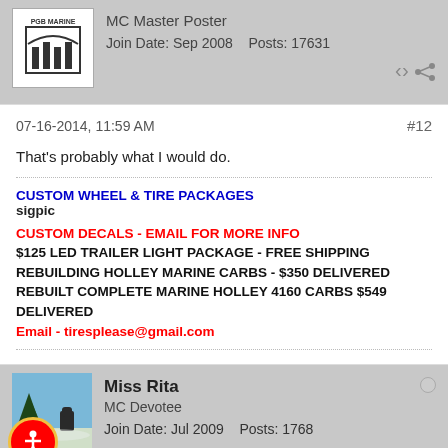MC Master Poster
Join Date: Sep 2008    Posts: 17631
07-16-2014, 11:59 AM    #12
That's probably what I would do.
CUSTOM WHEEL & TIRE PACKAGES
sigpic

CUSTOM DECALS - EMAIL FOR MORE INFO
$125 LED TRAILER LIGHT PACKAGE - FREE SHIPPING
REBUILDING HOLLEY MARINE CARBS - $350 DELIVERED
REBUILT COMPLETE MARINE HOLLEY 4160 CARBS $549 DELIVERED
Email - tiresplease@gmail.com
Miss Rita
MC Devotee
Join Date: Jul 2009    Posts: 1768